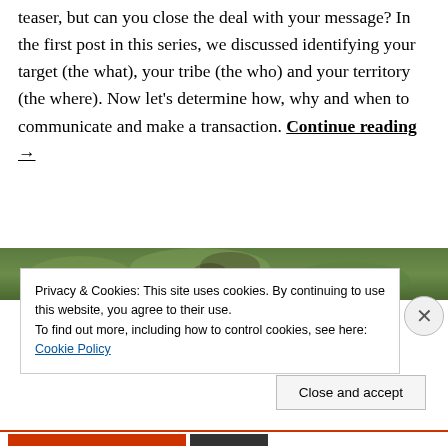teaser, but can you close the deal with your message? In the first post in this series, we discussed identifying your target (the what), your tribe (the who) and your territory (the where). Now let's determine how, why and when to communicate and make a transaction. Continue reading →
[Figure (photo): Green foliage background image strip at top of lower section]
Privacy & Cookies: This site uses cookies. By continuing to use this website, you agree to their use.
To find out more, including how to control cookies, see here: Cookie Policy
Close and accept